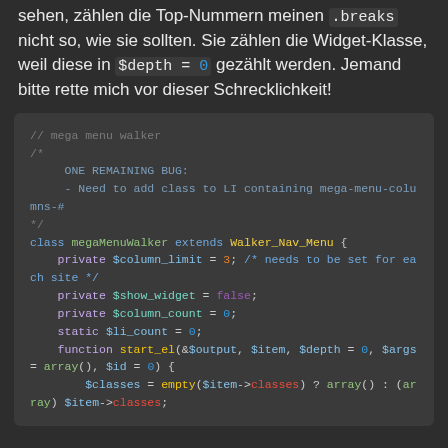sehen, zählen die Top-Nummern meinen .breaks nicht so, wie sie sollten. Sie zählen die Widget-Klasse, weil diese in $depth = 0 gezählt werden. Jemand bitte rette mich vor dieser Schrecklichkeit!
[Figure (screenshot): Code block showing PHP class megaMenuWalker with syntax highlighting on dark background. Contains comment about mega menu walker with ONE REMAINING BUG note, class declaration extending Walker_Nav_Menu, private and static property declarations, and start of function start_el.]